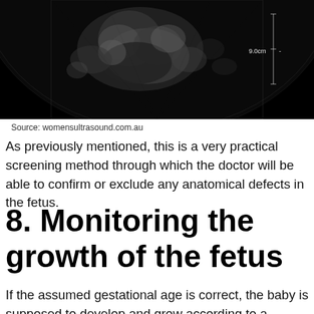[Figure (photo): Ultrasound image of a fetus with measurement marker showing 9.0cm in the upper right corner. Black and white sonogram image.]
Source: womensultrasound.com.au
As previously mentioned, this is a very practical screening method through which the doctor will be able to confirm or exclude any anatomical defects in the fetus.
8. Monitoring the growth of the fetus
If the assumed gestational age is correct, the baby is supposed to develop and grow according to a certain timeline. If there is